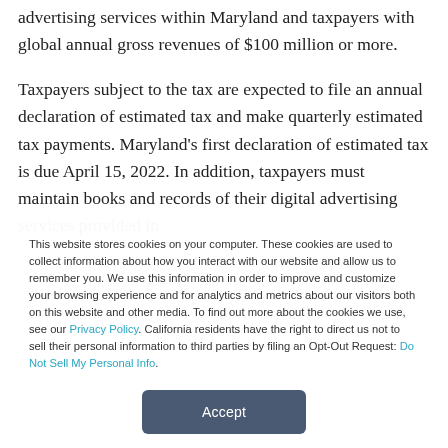advertising services within Maryland and taxpayers with global annual gross revenues of $100 million or more.
Taxpayers subject to the tax are expected to file an annual declaration of estimated tax and make quarterly estimated tax payments. Maryland's first declaration of estimated tax is due April 15, 2022. In addition, taxpayers must maintain books and records of their digital advertising services provided in
This website stores cookies on your computer. These cookies are used to collect information about how you interact with our website and allow us to remember you. We use this information in order to improve and customize your browsing experience and for analytics and metrics about our visitors both on this website and other media. To find out more about the cookies we use, see our Privacy Policy. California residents have the right to direct us not to sell their personal information to third parties by filing an Opt-Out Request: Do Not Sell My Personal Info.